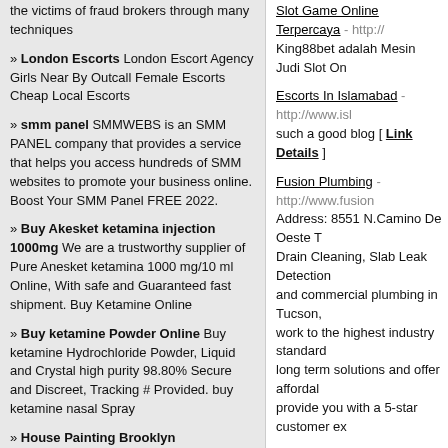the victims of fraud brokers through many techniques
» London Escorts London Escort Agency Girls Near By Outcall Female Escorts Cheap Local Escorts
» smm panel SMMWEBS is an SMM PANEL company that provides a service that helps you access hundreds of SMM websites to promote your business online. Boost Your SMM Panel FREE 2022.
» Buy Akesket ketamina injection 1000mg We are a trustworthy supplier of Pure Anesket ketamina 1000 mg/10 ml Online, With safe and Guaranteed fast shipment. Buy Ketamine Online
» Buy ketamine Powder Online Buy ketamine Hydrochloride Powder, Liquid and Crystal high purity 98.80% Secure and Discreet, Tracking # Provided. buy ketamine nasal Spray
» House Painting Brooklyn Professional painters for all your
Slot Game Online Terpercaya - http://... King88bet adalah Mesin Judi Slot On
Escorts In Islamabad - http://www.isl... such a good blog [ Link Details ]
Fusion Plumbing - http://www.fusion... Address: 8551 N.Camino De Oeste T... Drain Cleaning, Slab Leak Detection... and commercial plumbing in Tucson,... work to the highest industry standard... long term solutions and offer affordal... provide you with a 5-star customer ex...
Independent escorts in Mount abu Ca... Welcome To Real Call Girls Services http://www.sexyramya.in/ [ Link Det...
300 Watches blog - https://300watche... It takes time, choosing the piece that ... of information about your most preci... window into who we are. And you w... timepieces. [ Link Details ]
Fine art shippers NYC - http://www.f... Professional fine art packing services across the us. Art installation and dei...
Elite London Escorts Agency - http://...